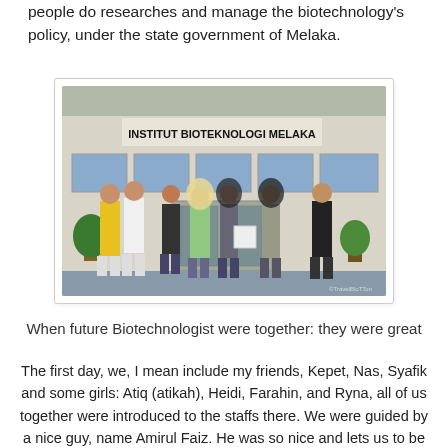people do researches and manage the biotechnology's policy, under the state government of Melaka.
[Figure (photo): Group photo of students standing in front of Institut Bioteknologi Melaka building entrance]
When future Biotechnologist were together: they were great
The first day, we, I mean include my friends, Kepet, Nas, Syafik and some girls: Atiq (atikah), Heidi, Farahin, and Ryna, all of us together were introduced to the staffs there. We were guided by a nice guy, name Amirul Faiz. He was so nice and lets us to be familiar with the place. After that, our task began. We were asigned to check all the inventory in